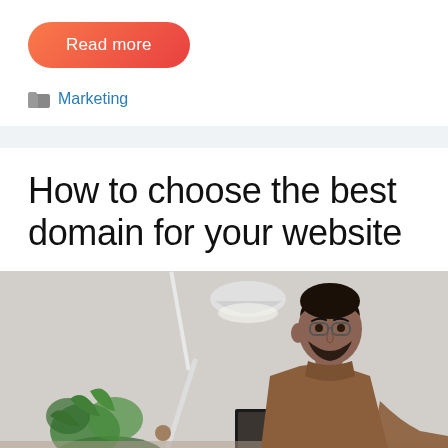Read more
Marketing
How to choose the best domain for your website
[Figure (photo): A man with glasses and a beard wearing a brown turtleneck sweater, sitting at a desk working, with a white desk lamp and green plant visible in the background]